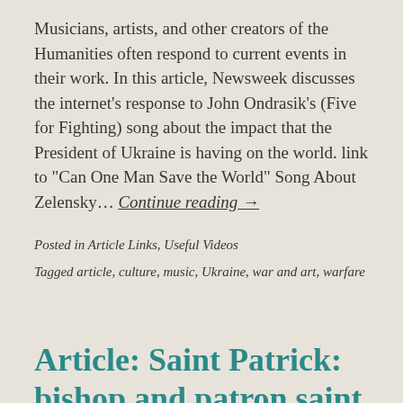Musicians, artists, and other creators of the Humanities often respond to current events in their work. In this article, Newsweek discusses the internet's response to John Ondrasik's (Five for Fighting) song about the impact that the President of Ukraine is having on the world. link to "Can One Man Save the World" Song About Zelensky... Continue reading →
Posted in Article Links, Useful Videos
Tagged article, culture, music, Ukraine, war and art, warfare
Article: Saint Patrick: bishop and patron saint of Ireland